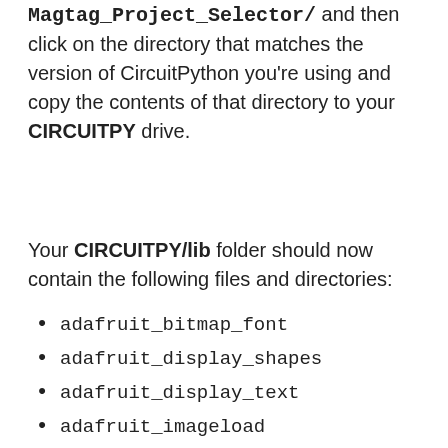Magtag_Project_Selector/ and then click on the directory that matches the version of CircuitPython you're using and copy the contents of that directory to your CIRCUITPY drive.
Your CIRCUITPY/lib folder should now contain the following files and directories:
adafruit_bitmap_font
adafruit_display_shapes
adafruit_display_text
adafruit_imageload
adafruit_io
adafruit_magtag
adafruit_portalbase
adafruit_fakerequests
adafruit_miniqr
adafruit_progressbar